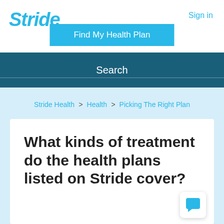[Figure (logo): Stride logo in cyan cursive italic text]
Sign in
Find My Health Plan
Search
Stride Health > Health > Picking The Right Plan
What kinds of treatment do the health plans listed on Stride cover?